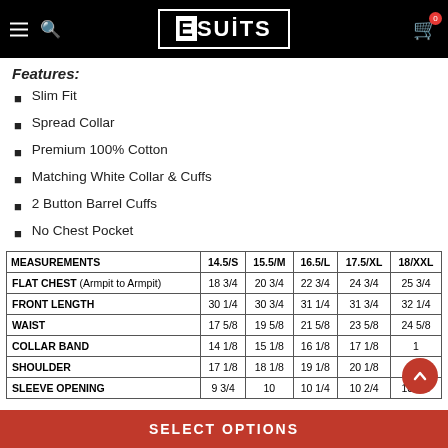ESUITS
Features:
Slim Fit
Spread Collar
Premium 100% Cotton
Matching White Collar & Cuffs
2 Button Barrel Cuffs
No Chest Pocket
| MEASUREMENTS | 14.5/S | 15.5/M | 16.5/L | 17.5/XL | 18/XXL |
| --- | --- | --- | --- | --- | --- |
| FLAT CHEST (Armpit to Armpit) | 18 3/4 | 20 3/4 | 22 3/4 | 24 3/4 | 25 3/4 |
| FRONT LENGTH | 30 1/4 | 30 3/4 | 31 1/4 | 31 3/4 | 32 1/4 |
| WAIST | 17 5/8 | 19 5/8 | 21 5/8 | 23 5/8 | 24 5/8 |
| COLLAR BAND | 14 1/8 | 15 1/8 | 16 1/8 | 17 1/8 | 1… |
| SHOULDER | 17 1/8 | 18 1/8 | 19 1/8 | 20 1/8 | … |
| SLEEVE OPENING | 9 3/4 | 10 | 10 1/4 | 10 2/4 | 10 3/4 |
SELECT OPTIONS